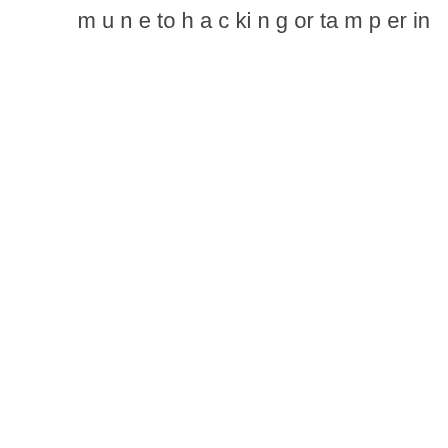m u n e to h a c ki n g or ta m p er in